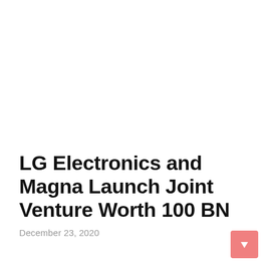LG Electronics and Magna Launch Joint Venture Worth 100 BN
December 23, 2020